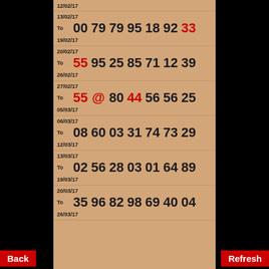12/02/17
13/02/17 To 00 79 79 95 18 92 33 19/02/17
20/02/17 To 55 95 25 85 71 12 39 26/02/17
27/02/17 To 55 @ 80 44 56 56 25 05/03/17
06/03/17 To 08 60 03 31 74 73 29 12/03/17
13/03/17 To 02 56 28 03 01 64 89 19/03/17
20/03/17 To 35 96 82 98 69 40 04 26/03/17
Back   Refresh